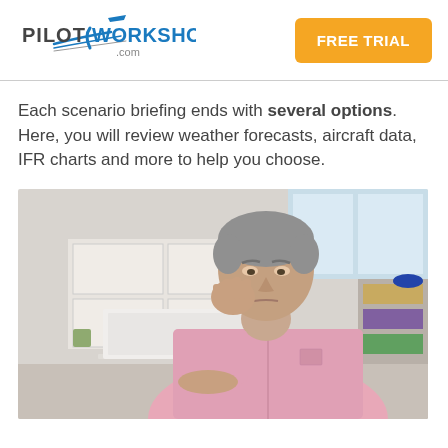[Figure (logo): PilotWorkshops.com logo with airplane silhouette and swoosh]
[Figure (other): FREE TRIAL button in orange/yellow]
Each scenario briefing ends with several options. Here, you will review weather forecasts, aircraft data, IFR charts and more to help you choose.
[Figure (photo): Middle-aged man with gray hair in a pink shirt, leaning on his hand, looking at a laptop computer, in a kitchen/home office setting]